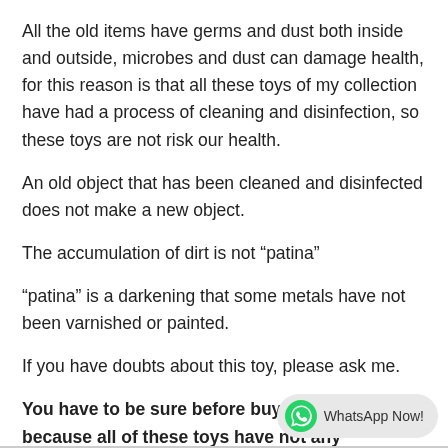All the old items have germs and dust both inside and outside, microbes and dust can damage health, for this reason is that all these toys of my collection have had a process of cleaning and disinfection, so these toys are not risk our health.
An old object that has been cleaned and disinfected does not make a new object.
The accumulation of dirt is not “patina”
“patina” is a darkening that some metals have not been varnished or painted.
If you have doubts about this toy, please ask me.
You have to be sure before buying this toy, because all of these toys have not any guarantee.
[Figure (screenshot): WhatsApp Now! button widget in bottom right corner]